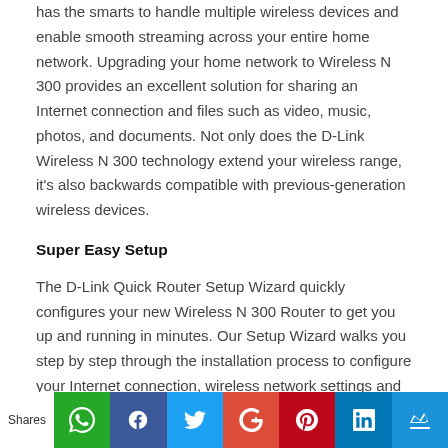has the smarts to handle multiple wireless devices and enable smooth streaming across your entire home network. Upgrading your home network to Wireless N 300 provides an excellent solution for sharing an Internet connection and files such as video, music, photos, and documents. Not only does the D-Link Wireless N 300 technology extend your wireless range, it's also backwards compatible with previous-generation wireless devices.
Super Easy Setup
The D-Link Quick Router Setup Wizard quickly configures your new Wireless N 300 Router to get you up and running in minutes. Our Setup Wizard walks you step by step through the installation process to configure your Internet connection, wireless network settings and security, and everything else you need to get your network up and